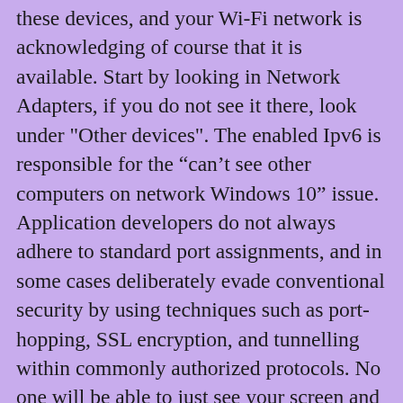these devices, and your Wi-Fi network is acknowledging of course that it is available. Start by looking in Network Adapters, if you do not see it there, look under "Other devices". The enabled Ipv6 is responsible for the “can’t see other computers on network Windows 10” issue. Application developers do not always adhere to standard port assignments, and in some cases deliberately evade conventional security by using techniques such as port-hopping, SSL encryption, and tunnelling within commonly authorized protocols. No one will be able to just see your screen and check out what you're doing. This will present you with a similar list as Wireless Network Watcher, but the information may be slightly different. If all goes well, you should be able to identify every device on your network. Once there, look for an option that sounds like "Attached Devices" or "Client List." Unit 2a To see your screen, you would have to use a remote desktop connection program, such as TeamViewer or VNC. The growth in cloud computing and proliferation of OTT content has led to a huge increase